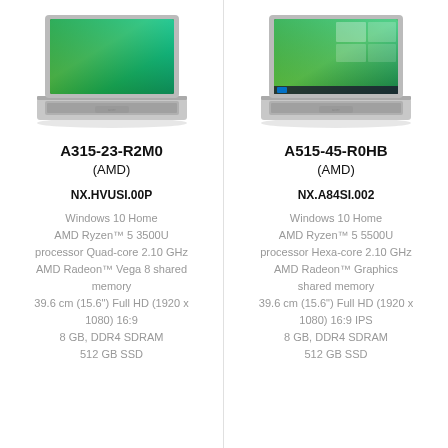[Figure (photo): Acer laptop A315-23-R2M0 with green wallpaper, silver chassis, open lid showing keyboard]
A315-23-R2M0
(AMD)
NX.HVUSI.00P
Windows 10 Home
AMD Ryzen™ 5 3500U processor Quad-core 2.10 GHz
AMD Radeon™ Vega 8 shared memory
39.6 cm (15.6") Full HD (1920 x 1080) 16:9
8 GB, DDR4 SDRAM
512 GB SSD
[Figure (photo): Acer laptop A515-45-R0HB with Windows 10 desktop wallpaper, silver chassis, open lid showing keyboard]
A515-45-R0HB
(AMD)
NX.A84SI.002
Windows 10 Home
AMD Ryzen™ 5 5500U processor Hexa-core 2.10 GHz
AMD Radeon™ Graphics shared memory
39.6 cm (15.6") Full HD (1920 x 1080) 16:9 IPS
8 GB, DDR4 SDRAM
512 GB SSD